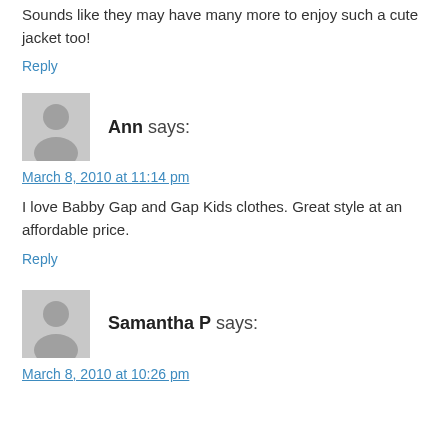Sounds like they may have many more to enjoy such a cute jacket too!
Reply
Ann says:
March 8, 2010 at 11:14 pm
I love Babby Gap and Gap Kids clothes. Great style at an affordable price.
Reply
Samantha P says:
March 8, 2010 at 10:26 pm